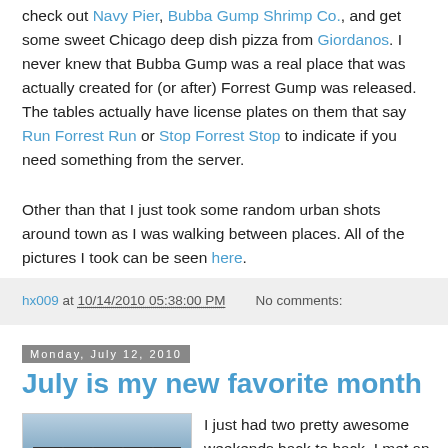check out Navy Pier, Bubba Gump Shrimp Co., and get some sweet Chicago deep dish pizza from Giordanos. I never knew that Bubba Gump was a real place that was actually created for (or after) Forrest Gump was released. The tables actually have license plates on them that say Run Forrest Run or Stop Forrest Stop to indicate if you need something from the server.
Other than that I just took some random urban shots around town as I was walking between places. All of the pictures I took can be seen here.
hx009 at 10/14/2010 05:38:00 PM    No comments:
Monday, July 12, 2010
July is my new favorite month
[Figure (photo): Photo of a crane or bridge structure against a blue sky]
I just had two pretty awesome weekends back to back. I met an awesome new person who